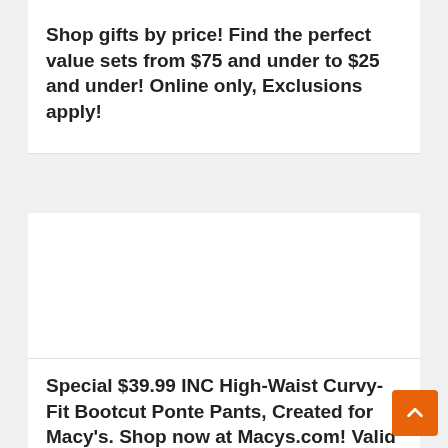Shop gifts by price! Find the perfect value sets from $75 and under to $25 and under! Online only, Exclusions apply!
[Figure (photo): Product image area (blank/white) for INC High-Waist Curvy-Fit Bootcut Ponte Pants]
Special $39.99 INC High-Waist Curvy-Fit Bootcut Ponte Pants, Created for Macy's. Shop now at Macys.com! Valid 11/13 through